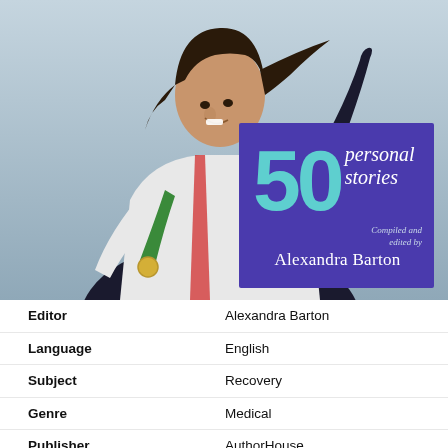[Figure (photo): Photo of a smiling female athlete with dark hair, wearing white athletic jacket with a medal on a green ribbon, raising one arm in celebration. A book cover overlay in the lower right shows '50 personal stories Compiled and edited by Alexandra Barton' on a purple background.]
| Editor | Alexandra Barton |
| Language | English |
| Subject | Recovery |
| Genre | Medical |
| Publisher | AuthorHouse |
| Publication date | 2008 |
| Media type | print & digital |